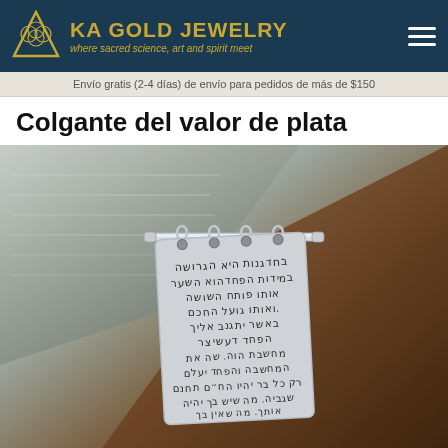KA GOLD JEWELRY — where sacred science, art and spirit meet
Envío gratis (2-4 días) de envío para pedidos de más de $150
Colgante del valor de plata
[Figure (photo): Close-up photo of a silver pendant with Hebrew text inscribed, hanging from a silver bar with small rings, resting against aged book pages and a rustic brown background.]